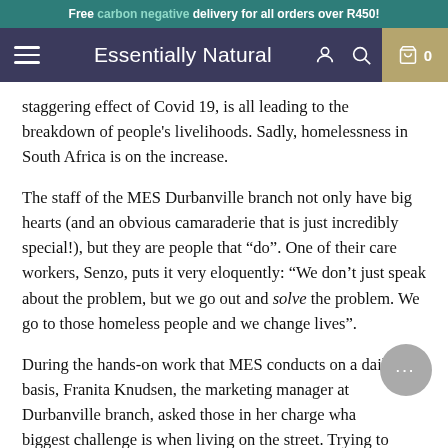Free carbon negative delivery for all orders over R450!
Essentially Natural
staggering effect of Covid 19, is all leading to the breakdown of people's livelihoods. Sadly, homelessness in South Africa is on the increase.
The staff of the MES Durbanville branch not only have big hearts (and an obvious camaraderie that is just incredibly special!), but they are people that “do”. One of their care workers, Senzo, puts it very eloquently: “We don’t just speak about the problem, but we go out and solve the problem. We go to those homeless people and we change lives”.
During the hands-on work that MES conducts on a daily basis, Franita Knudsen, the marketing manager at Durbanville branch, asked those in her charge what biggest challenge is when living on the street. Trying to